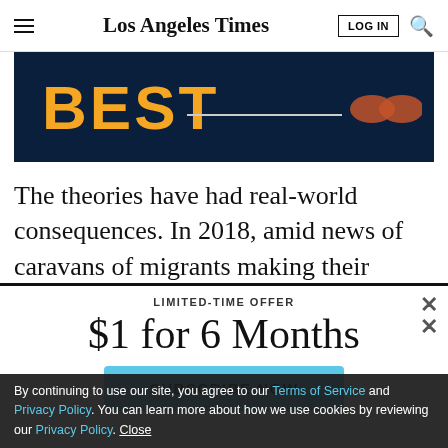Los Angeles Times
[Figure (other): Dark navy advertisement banner with orange bold text 'BEST' and a decorative bowtie/bow graphic with a horizontal line]
The theories have had real-world consequences. In 2018, amid news of caravans of migrants making their
LIMITED-TIME OFFER
$1 for 6 Months
SUBSCRIBE NOW
By continuing to use our site, you agree to our Terms of Service and Privacy Policy. You can learn more about how we use cookies by reviewing our Privacy Policy. Close